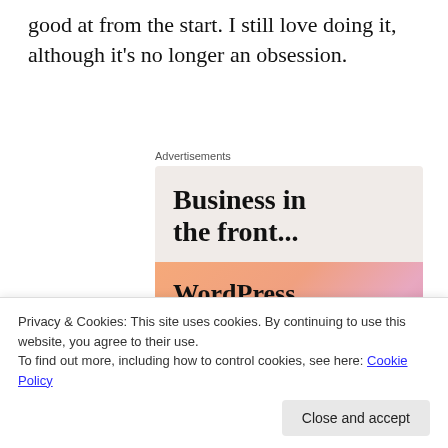good at from the start. I still love doing it, although it’s no longer an obsession.
[Figure (other): Advertisement banner: top half shows 'Business in the front...' text on a light beige/pink background; bottom half shows 'WordPress in the back.' text on a colorful orange-to-pink gradient background]
Privacy & Cookies: This site uses cookies. By continuing to use this website, you agree to their use.
To find out more, including how to control cookies, see here: Cookie Policy
general.